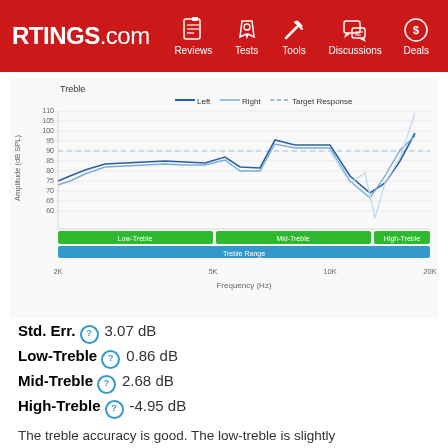RTINGS.com | Reviews | Tests | Tools | Discussions | Deals
[Figure (continuous-plot): Frequency response chart showing Treble range. Y-axis: Amplitude (dB SPL) ranging from 60 to 110. X-axis: Frequency (Hz) from 2K to 20K. Three lines: Left (dark blue), Right (medium blue), Target Response (dashed blue). Green bands labeled Low-Treble, Mid-Treble, High-Treble. Blue band labeled Treble Range.]
Std. Err. ? 3.07 dB
Low-Treble ? 0.86 dB
Mid-Treble ? 2.68 dB
High-Treble ? -4.95 dB
The treble accuracy is good. The low-treble is slightly